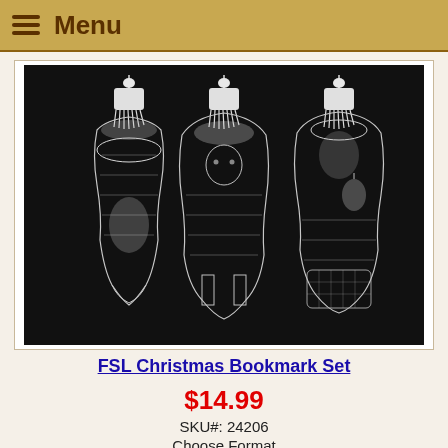Menu
[Figure (photo): Three white lace FSL (Free Standing Lace) Christmas bookmarks on a black background, each with white tassels at the top. The bookmarks feature intricate lace patterns in Christmas themes (angel/nativity figures), arranged side by side.]
FSL Christmas Bookmark Set
$14.99
SKU#: 24206
Choose Format
ART